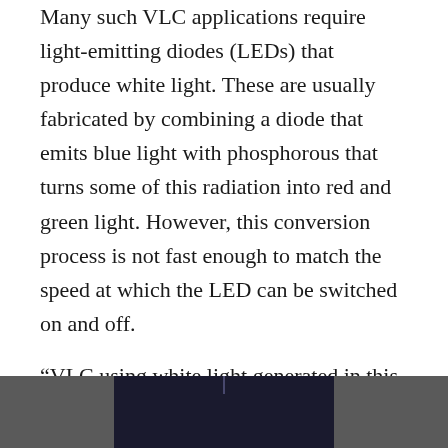Many such VLC applications require light-emitting diodes (LEDs) that produce white light. These are usually fabricated by combining a diode that emits blue light with phosphorous that turns some of this radiation into red and green light. However, this conversion process is not fast enough to match the speed at which the LED can be switched on and off.

"VLC using white light generated in this way is limited to about one hundred million bits per second," said KAUST Professor of Electrical Engineering Boon Ooi.
[Figure (photo): Partial photo at bottom of page showing a dark image, likely a lab scene with faint light element visible at top center.]